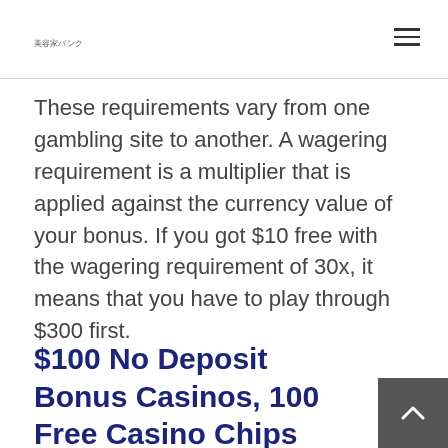美容家バンク
These requirements vary from one gambling site to another. A wagering requirement is a multiplier that is applied against the currency value of your bonus. If you got $10 free with the wagering requirement of 30x, it means that you have to play through $300 first.
$100 No Deposit Bonus Casinos, 100 Free Casino Chips